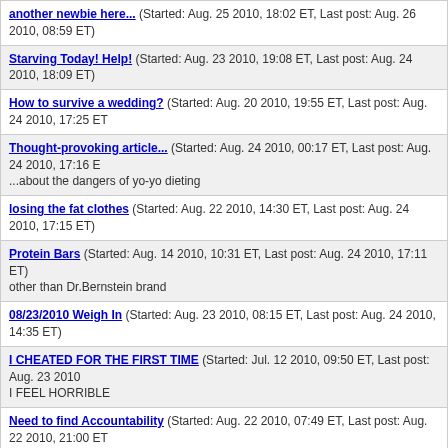another newbie here... (Started: Aug. 25 2010, 18:02 ET, Last post: Aug. 26 2010, 08:59 ET)
Starving Today! Help! (Started: Aug. 23 2010, 19:08 ET, Last post: Aug. 24 2010, 18:09 ET)
How to survive a wedding? (Started: Aug. 20 2010, 19:55 ET, Last post: Aug. 24 2010, 17:25 ET)
Thought-provoking article... (Started: Aug. 24 2010, 00:17 ET, Last post: Aug. 24 2010, 17:16 ET) ...about the dangers of yo-yo dieting
losing the fat clothes (Started: Aug. 22 2010, 14:30 ET, Last post: Aug. 24 2010, 17:15 ET)
Protein Bars (Started: Aug. 14 2010, 10:31 ET, Last post: Aug. 24 2010, 17:11 ET) other than Dr.Bernstein brand
08/23/2010 Weigh In (Started: Aug. 23 2010, 08:15 ET, Last post: Aug. 24 2010, 14:35 ET)
I CHEATED FOR THE FIRST TIME (Started: Jul. 12 2010, 09:50 ET, Last post: Aug. 23 2010) I FEEL HORRIBLE
Need to find Accountability (Started: Aug. 22 2010, 07:49 ET, Last post: Aug. 22 2010, 21:00 ET)
08/20/2010 weigh in (Started: Aug. 20 2010, 08:59 ET, Last post: Aug. 20 2010, 21:34 ET)
Injection Location (Started: Aug. 18 2010, 12:44 ET, Last post: Aug. 20 2010, 12:45 ET)
Kids say the darndest things (Started: Aug. 19 2010, 18:08 ET, Last post: Aug. 20 2010, 08:44 ET)
Anti-Depressants on Strict? (Started: Aug. 17 2010, 22:21 ET, Last post: Aug. 19 2010, 09:06 ET)
08/18/2010 weigh-in (Started: Aug. 18 2010, 08:32 ET, Last post: Aug. 19 2010, 08:55 ET)
Where do you get stabbed? (Started: Aug. 18 2010, 11:34 ET, Last post: Aug. 19 2010, 07:59 ET)